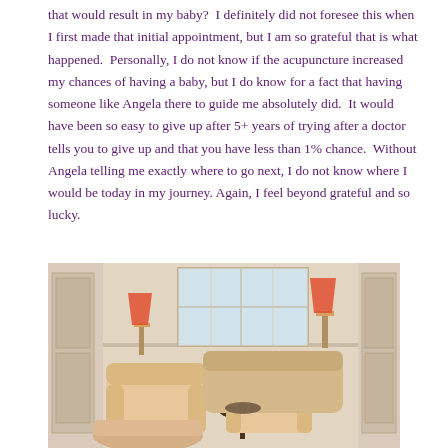that would result in my baby?  I definitely did not foresee this when I first made that initial appointment, but I am so grateful that is what happened.  Personally, I do not know if the acupuncture increased my chances of having a baby, but I do know for a fact that having someone like Angela there to guide me absolutely did.  It would have been so easy to give up after 5+ years of trying after a doctor tells you to give up and that you have less than 1% chance.  Without Angela telling me exactly where to go next, I do not know where I would be today in my journey. Again, I feel beyond grateful and so lucky.
[Figure (photo): Interior of a comfortable waiting room or therapy room with cream/beige upholstered armchairs and a sofa, a small dark side table, warm lighting from a lamp with orange shade, large windows in the background, white wainscoting on the walls, and a pinkish-orange carpet floor.]